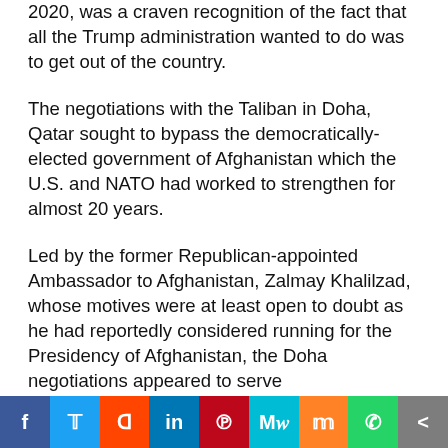2020, was a craven recognition of the fact that all the Trump administration wanted to do was to get out of the country.
The negotiations with the Taliban in Doha, Qatar sought to bypass the democratically-elected government of Afghanistan which the U.S. and NATO had worked to strengthen for almost 20 years.
Led by the former Republican-appointed Ambassador to Afghanistan, Zalmay Khalilzad, whose motives were at least open to doubt as he had reportedly considered running for the Presidency of Afghanistan, the Doha negotiations appeared to serve
[Figure (infographic): Social media sharing bar with buttons for Facebook, Twitter, Reddit, LinkedIn, Pinterest, MeWe, Mix, WhatsApp, and Share]